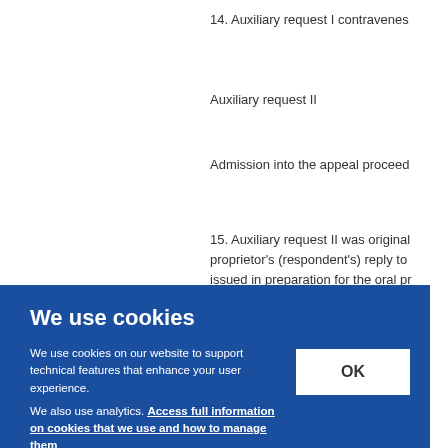14. Auxiliary request I contravenes
Auxiliary request II
Admission into the appeal proceed
15. Auxiliary request II was originally... proprietor's (respondent's) reply to... issued in preparation for the oral pr... ry req... supra
We use cookies
We use cookies on our website to support technical features that enhance your user experience.
We also use analytics. Access full information on cookies that we use and how to manage them
OK